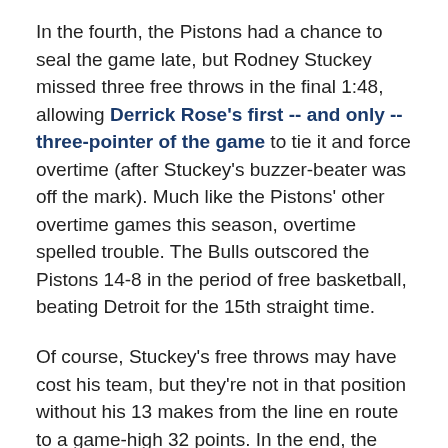In the fourth, the Pistons had a chance to seal the game late, but Rodney Stuckey missed three free throws in the final 1:48, allowing Derrick Rose's first -- and only -- three-pointer of the game to tie it and force overtime (after Stuckey's buzzer-beater was off the mark). Much like the Pistons' other overtime games this season, overtime spelled trouble. The Bulls outscored the Pistons 14-8 in the period of free basketball, beating Detroit for the 15th straight time.
Of course, Stuckey's free throws may have cost his team, but they're not in that position without his 13 makes from the line en route to a game-high 32 points. In the end, the Pistons played the East's best team very tough -- a building block of sorts -- and didn't hurt their lottery odds in the process. A win-win loss, so to speak.
Charlie Villanueva saw his most extensive PT of the season, burning almost 20 minutes. He was 6-for-15 and 1-for-6 from long range.